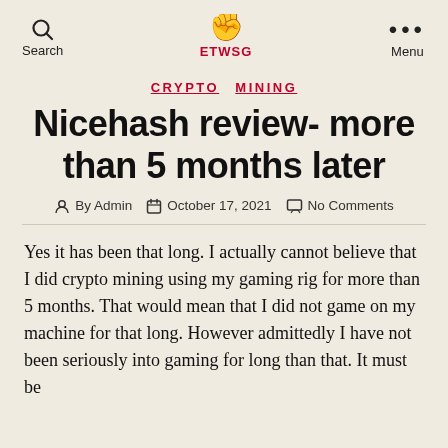Search  ETWSG  Menu
CRYPTO  MINING
Nicehash review- more than 5 months later
By Admin   October 17, 2021   No Comments
Yes it has been that long. I actually cannot believe that I did crypto mining using my gaming rig for more than 5 months. That would mean that I did not game on my machine for that long. However admittedly I have not been seriously into gaming for long than that. It must be